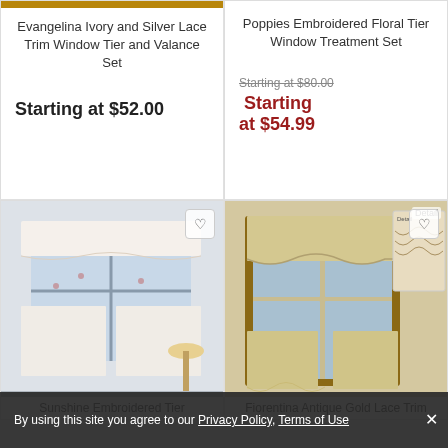Evangelina Ivory and Silver Lace Trim Window Tier and Valance Set
Starting at $52.00
Poppies Embroidered Floral Tier Window Treatment Set
Starting at $80.00 Starting at $54.99
[Figure (photo): Sunshine Embroidered Tier curtain set — sheer white curtains with floral embroidery on a window]
Sunshine Embroidered Tier
[Figure (photo): Fiorentina Antique Gold Lace Trim curtain set — beige/tan curtains with lace trim on a wooden window frame, with a detail inset]
Fiorentina Antique Gold Lace Trim
By using this site you agree to our Privacy Policy, Terms of Use ✕